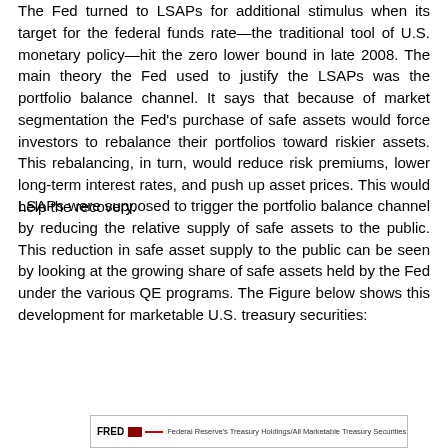The Fed turned to LSAPs for additional stimulus when its target for the federal funds rate—the traditional tool of U.S. monetary policy—hit the zero lower bound in late 2008. The main theory the Fed used to justify the LSAPs was the portfolio balance channel. It says that because of market segmentation the Fed's purchase of safe assets would force investors to rebalance their portfolios toward riskier assets. This rebalancing, in turn, would reduce risk premiums, lower long-term interest rates, and push up asset prices. This would help the recovery.
LSAPs were supposed to trigger the portfolio balance channel by reducing the relative supply of safe assets to the public. This reduction in safe asset supply to the public can be seen by looking at the growing share of safe assets held by the Fed under the various QE programs. The Figure below shows this development for marketable U.S. treasury securities:
[Figure (other): Partial view of a FRED chart showing Federal Reserve's Treasury Holdings/All Marketable Treasury Securities. The chart header is visible with the FRED logo and line legend label.]